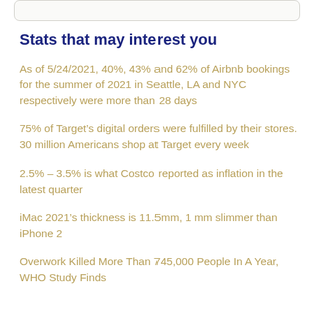Stats that may interest you
As of 5/24/2021, 40%, 43% and 62% of Airbnb bookings for the summer of 2021 in Seattle, LA and NYC respectively were more than 28 days
75% of Target’s digital orders were fulfilled by their stores. 30 million Americans shop at Target every week
2.5% – 3.5% is what Costco reported as inflation in the latest quarter
iMac 2021’s thickness is 11.5mm, 1 mm slimmer than iPhone 2
Overwork Killed More Than 745,000 People In A Year, WHO Study Finds